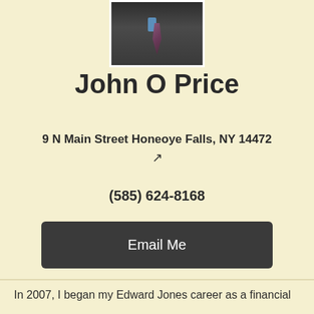[Figure (photo): Professional headshot of John O Price in a dark suit with a patterned tie and blue shirt, cropped at chest level]
John O Price
9 N Main Street Honeoye Falls, NY 14472
(585) 624-8168
Email Me
In 2007, I began my Edward Jones career as a financial